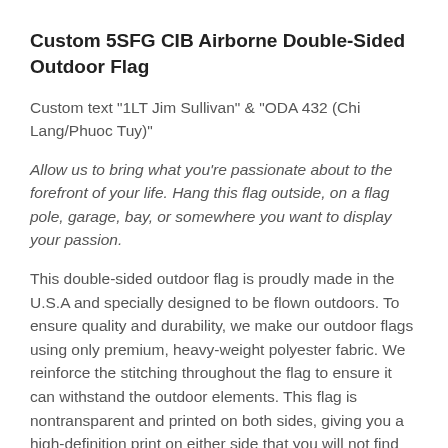Custom 5SFG CIB Airborne Double-Sided Outdoor Flag
Custom text "1LT Jim Sullivan" & "ODA 432 (Chi Lang/Phuoc Tuy)"
Allow us to bring what you're passionate about to the forefront of your life. Hang this flag outside, on a flag pole, garage, bay, or somewhere you want to display your passion.
This double-sided outdoor flag is proudly made in the U.S.A and specially designed to be flown outdoors. To ensure quality and durability, we make our outdoor flags using only premium, heavy-weight polyester fabric. We reinforce the stitching throughout the flag to ensure it can withstand the outdoor elements. This flag is nontransparent and printed on both sides, giving you a high-definition print on either side that you will not find anywhere else.